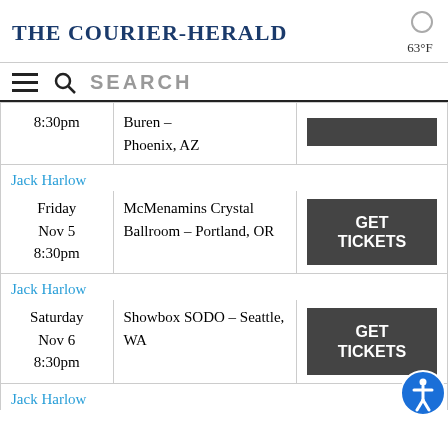The Courier-Herald
63°F
| Date | Venue | Tickets |
| --- | --- | --- |
| 8:30pm | Buren – Phoenix, AZ |  |
| Jack Harlow |  |  |
| Friday Nov 5 8:30pm | McMenamins Crystal Ballroom – Portland, OR | GET TICKETS |
| Jack Harlow |  |  |
| Saturday Nov 6 8:30pm | Showbox SODO – Seattle, WA | GET TICKETS |
| Jack Harlow |  |  |